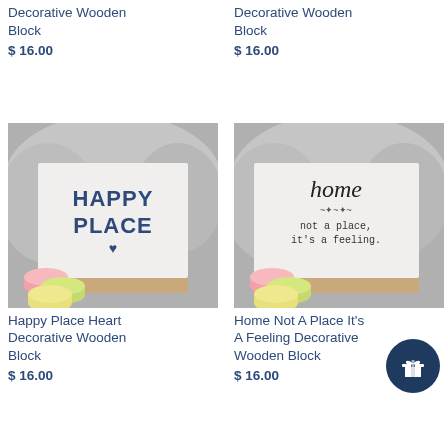Decorative Wooden Block
$ 16.00
Decorative Wooden Block
$ 16.00
[Figure (photo): Wooden block sign with 'HAPPY PLACE' text and a heart, surrounded by macarons]
Happy Place Heart Decorative Wooden Block
$ 16.00
[Figure (photo): Wooden block sign with 'home not a place, it's a feeling.' text, surrounded by macarons]
Home Not A Place It's A Feeling Decorative Wooden Block
$ 16.00